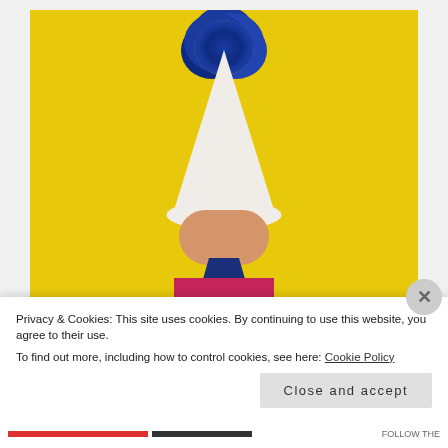[Figure (photo): A doll or figurine wearing a white cone-shaped party hat with a blue metallic pompom on top, dressed in a pink/magenta polka-dot outfit with a navy blue scarf/bow, photographed against a bright yellow background.]
Privacy & Cookies: This site uses cookies. By continuing to use this website, you agree to their use.
To find out more, including how to control cookies, see here: Cookie Policy
Close and accept